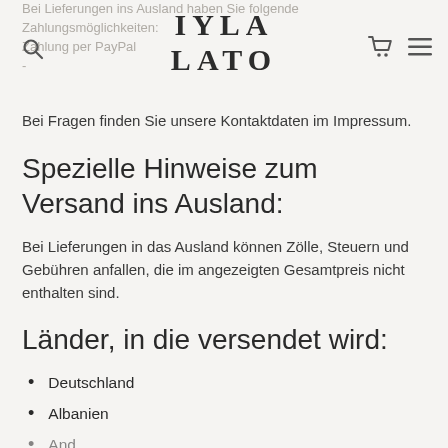IYLA LATO
Bei Lieferungen ins Ausland haben Sie folgende Zahlungsmöglichkeiten:
Zahlung per PayPal
Bei Fragen finden Sie unsere Kontaktdaten im Impressum.
Spezielle Hinweise zum Versand ins Ausland:
Bei Lieferungen in das Ausland können Zölle, Steuern und Gebühren anfallen, die im angezeigten Gesamtpreis nicht enthalten sind.
Länder, in die versendet wird:
Deutschland
Albanien
Andorra